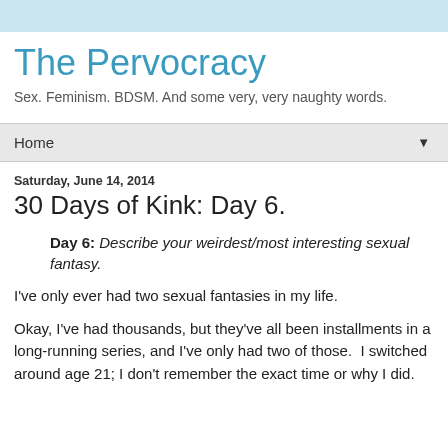The Pervocracy
Sex. Feminism. BDSM. And some very, very naughty words.
Home
Saturday, June 14, 2014
30 Days of Kink: Day 6.
Day 6: Describe your weirdest/most interesting sexual fantasy.
I've only ever had two sexual fantasies in my life.
Okay, I've had thousands, but they've all been installments in a long-running series, and I've only had two of those.  I switched around age 21; I don't remember the exact time or why I did.